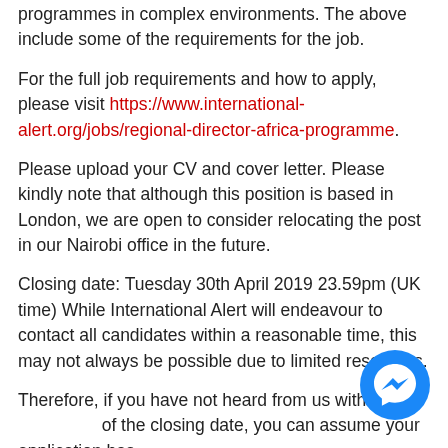programmes in complex environments. The above include some of the requirements for the job.
For the full job requirements and how to apply, please visit https://www.international-alert.org/jobs/regional-director-africa-programme.
Please upload your CV and cover letter. Please kindly note that although this position is based in London, we are open to consider relocating the post in our Nairobi office in the future.
Closing date: Tuesday 30th April 2019 23.59pm (UK time) While International Alert will endeavour to contact all candidates within a reasonable time, this may not always be possible due to limited resources.
Therefore, if you have not heard from us within tw... of the closing date, you can assume your application has,
[Figure (illustration): Blue circular Facebook Messenger chat icon button in bottom-right corner]